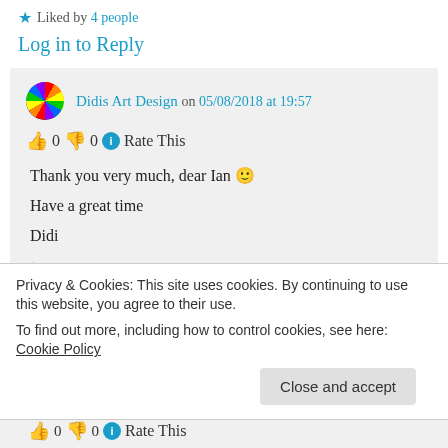★ Liked by 4 people
Log in to Reply
Didis Art Design on 05/08/2018 at 19:57
👍 0 👎 0 ℹ Rate This
Thank you very much, dear Ian 🙂
Have a great time
Didi
★ Like
Privacy & Cookies: This site uses cookies. By continuing to use this website, you agree to their use.
To find out more, including how to control cookies, see here: Cookie Policy
Close and accept
👍 0 👎 0 ℹ Rate This